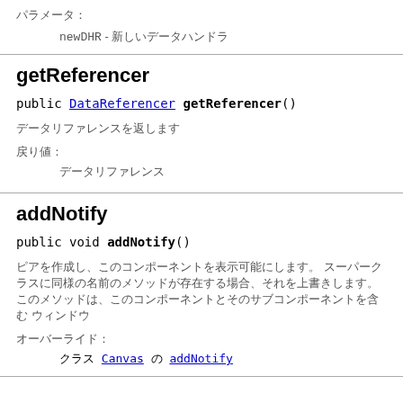パラメータ:
newDHR - 新しいデータハンドラ
getReferencer
public DataReferencer getReferencer()
データリファレンスを返します
戻り値:
データリファレンス
addNotify
public void addNotify()
ピアを作成し、このコンポーネントを表示可能にします。 スーパークラスに同様の名前のメソッドが存在する場合、それを上書きします。 このメソッドは、このコンポーネントとそのサブコンポーネントを含む ウィンドウ
オーバーライド:
クラス Canvas の addNotify